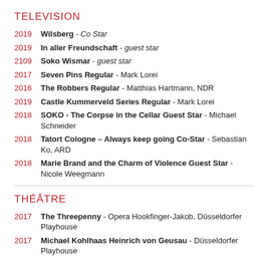TELEVISION
2019 Wilsberg - Co Star
2019 In aller Freundschaft - guest star
2109 Soko Wismar - guest star
2017 Seven Pins Regular - Mark Lorei
2016 The Robbers Regular - Matthias Hartmann, NDR
2019 Castle Kummerveld Series Regular - Mark Lorei
2018 SOKO - The Corpse in the Cellar Guest Star - Michael Schneider
2018 Tatort Cologne – Always keep going Co-Star - Sebastian Ko, ARD
2018 Marie Brand and the Charm of Violence Guest Star - Nicole Weegmann
THÉÂTRE
2017 The Threepenny - Opera Hookfinger-Jakob, Düsseldorfer Playhouse
2017 Michael Kohlhaas Heinrich von Geusau - Düsseldorfer Playhouse